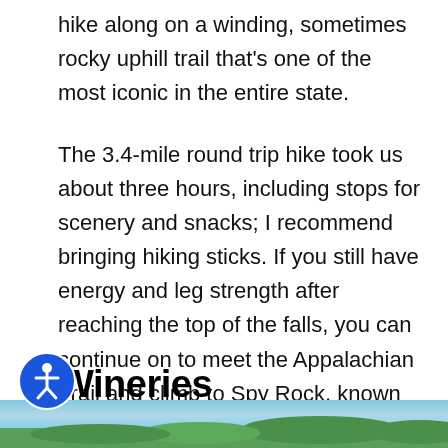hike along on a winding, sometimes rocky uphill trail that’s one of the most iconic in the entire state.
The 3.4-mile round trip hike took us about three hours, including stops for scenery and snacks; I recommend bringing hiking sticks. If you still have energy and leg strength after reaching the top of the falls, you can continue on to meet the Appalachian Trail and climb to Spy Rock, known for its knockout 360-degree views.
Wineries
[Figure (photo): Scenic outdoor landscape photo showing blue sky and green trees at the bottom of the page.]